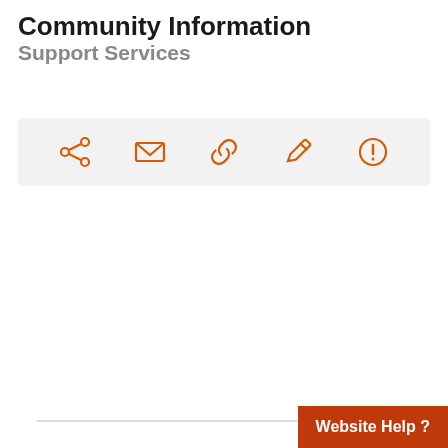Community Information
Support Services
[Figure (other): Toolbar with share, email, link, edit, and alert icons in orange]
Providers Nearby
Goju Ryu Karatedo Kyokai
Strathpine Physie
Bai Rui Taekwon-Do - North Lakes
Moreton Bay Physie
Sam Riley Swim Schools - North Lakes
Website Help ?